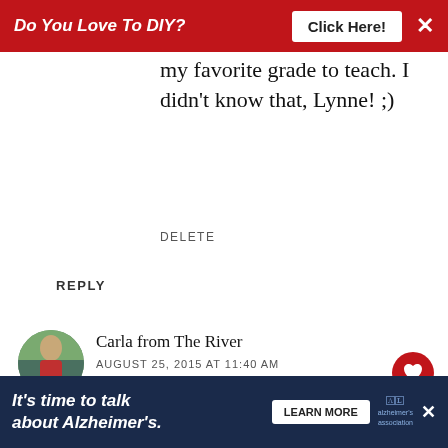Do You Love To DIY? Click Here!
my favorite grade to teach. I didn't know that, Lynne! ;)
DELETE
REPLY
Carla from The River
AUGUST 25, 2015 AT 11:40 AM
I love it, I love it! My boys were ju complaining about the very thin… We had temps in the 100's boys needed some mo… balloons to enjoy August Summer
[Figure (infographic): What's Next overlay with thumbnail image and text: WHAT'S NEXT → How To Stain A Concrete…]
It's time to talk about Alzheimer's. LEARN MORE